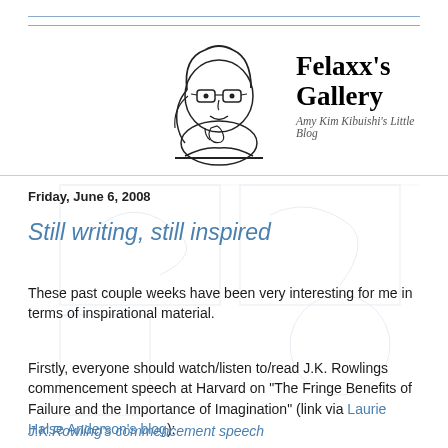[Figure (illustration): Cartoon illustration of a young woman with glasses and dark hair, leaning on a desk/table, smiling. Black and white line art.]
Felaxx's Gallery
Amy Kim Kibuishi's Little Blog
Friday, June 6, 2008
Still writing, still inspired
These past couple weeks have been very interesting for me in terms of inspirational material.
Firstly, everyone should watch/listen to/read J.K. Rowlings commencement speech at Harvard on "The Fringe Benefits of Failure and the Importance of Imagination" (link via Laurie Halse Anderson's blog):
J.K.Rowling's commencement speech